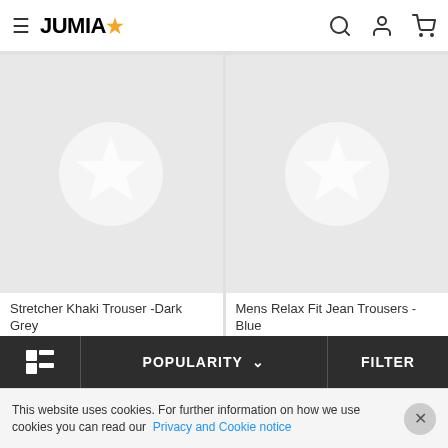JUMIA
[Figure (photo): Product placeholder image for Stretcher Khaki Trouser -Dark Grey with star icon]
Stretcher Khaki Trouser -Dark Grey
UGX 45,000
[Figure (photo): Product placeholder image for Mens Relax Fit Jean Trousers - Blue with star icon]
Mens Relax Fit Jean Trousers - Blue
UGX 44,000
POPULARITY  FILTER
This website uses cookies. For further information on how we use cookies you can read our Privacy and Cookie notice